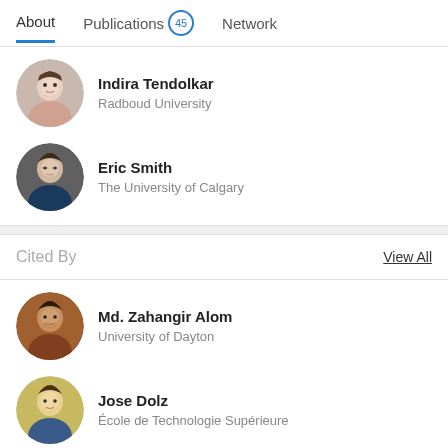About  Publications 45  Network
Indira Tendolkar
Radboud University
Eric Smith
The University of Calgary
Cited By
View All
Md. Zahangir Alom
University of Dayton
Jose Dolz
École de Technologie Supérieure
W.J. Niessen
Erasmus MC